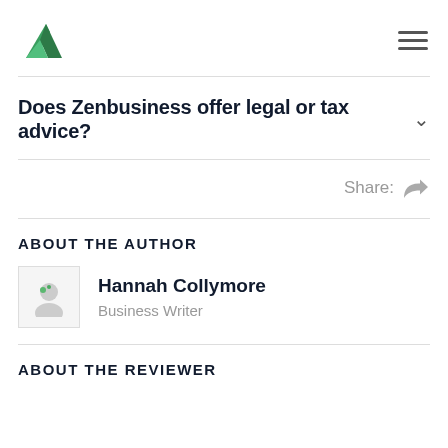ZenBusiness logo and navigation menu
Does Zenbusiness offer legal or tax advice?
Share:
ABOUT THE AUTHOR
Hannah Collymore
Business Writer
ABOUT THE REVIEWER